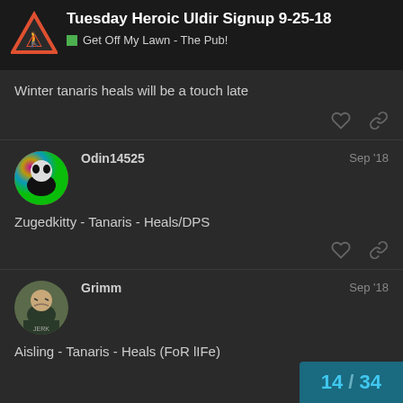Tuesday Heroic Uldir Signup 9-25-18 | Get Off My Lawn - The Pub!
Winter tanaris heals will be a touch late
Odin14525 — Sep '18
Zugedkitty - Tanaris - Heals/DPS
Grimm — Sep '18
Aisling - Tanaris - Heals (FoR lIFe)
14 / 34